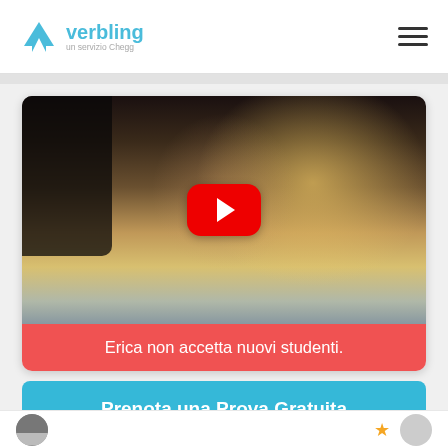verbling — un servizio Chegg
[Figure (screenshot): Video thumbnail showing a woman smiling with a YouTube-style red play button overlay, followed by a red notification bar reading 'Erica non accetta nuovi studenti.']
Erica non accetta nuovi studenti.
Prenota una Prova Gratuita